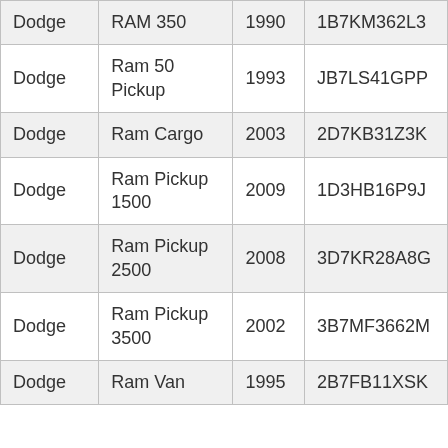| Dodge | RAM 350 | 1990 | 1B7KM362L3 |
| Dodge | Ram 50 Pickup | 1993 | JB7LS41GPP |
| Dodge | Ram Cargo | 2003 | 2D7KB31Z3K |
| Dodge | Ram Pickup 1500 | 2009 | 1D3HB16P9J |
| Dodge | Ram Pickup 2500 | 2008 | 3D7KR28A8G |
| Dodge | Ram Pickup 3500 | 2002 | 3B7MF3662M |
| Dodge | Ram Van | 1995 | 2B7FB11XSK |